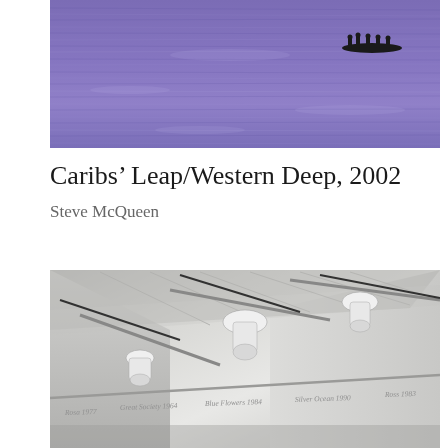[Figure (photo): A wide, low-angle photograph of a purple-toned ocean or sea surface with small rippling waves. In the upper right area, a small dark silhouette of a boat with several figures can be seen against the water.]
Caribs’ Leap/Western Deep, 2002
Steve McQueen
[Figure (photo): An interior photograph of a white gallery space taken from a low angle looking up at the ceiling. Track lighting fixtures with white projector housings are mounted on ceiling rails. Along the gallery wall near the top, italic text labels are visible listing artwork names and years: 'Rosa 1977', 'Great Society 1964', 'Blue Flowers 1984', 'Silver Ocean 1990', 'Ross 1983'.]